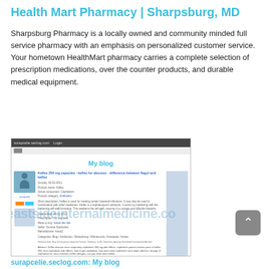Health Mart Pharmacy | Sharpsburg, MD
Sharpsburg Pharmacy is a locally owned and community minded full service pharmacy with an emphasis on personalized customer service. Your hometown HealthMart pharmacy carries a complete selection of prescription medications, over the counter products, and durable medical equipment.
[Figure (screenshot): Screenshot of a blog page titled 'My blog' showing a blog post about Keflex 250 mg capsules with a user avatar, post details, sidebar, and a watermark reading 'eastsideinternalmedicine.co']
surapcelie.seclog.com: My blog